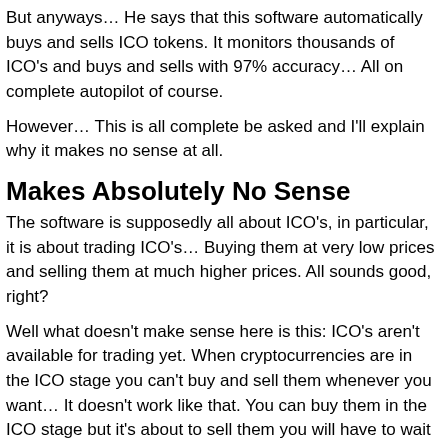But anyways… He says that this software automatically buys and sells ICO tokens. It monitors thousands of ICO's and buys and sells with 97% accuracy… All on complete autopilot of course.
However… This is all complete be asked and I'll explain why it makes no sense at all.
Makes Absolutely No Sense
The software is supposedly all about ICO's, in particular, it is about trading ICO's… Buying them at very low prices and selling them at much higher prices. All sounds good, right?
Well what doesn't make sense here is this: ICO's aren't available for trading yet. When cryptocurrencies are in the ICO stage you can't buy and sell them whenever you want… It doesn't work like that. You can buy them in the ICO stage but it's about to sell them you will have to wait for the next bit…